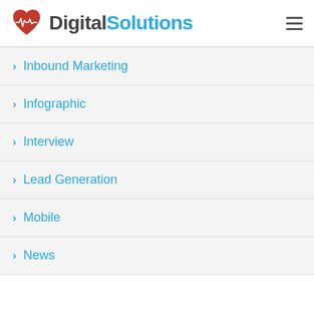[Figure (logo): Digital Solutions logo with red heart containing white ECG line, followed by 'Digital' in dark gray and 'Solutions' in cyan blue, with hamburger menu icon on the right]
Inbound Marketing
Infographic
Interview
Lead Generation
Mobile
News